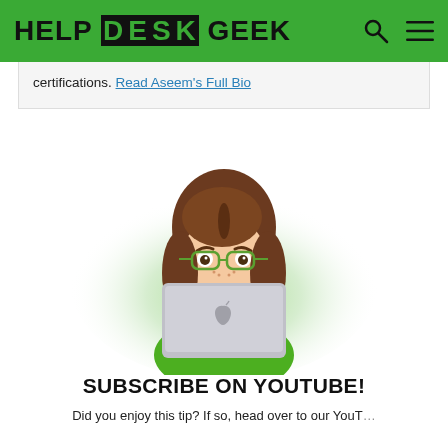HELP DESK GEEK
certifications. Read Aseem's Full Bio
[Figure (illustration): Cartoon avatar of a person with brown hair and green glasses peeking over a silver MacBook laptop, on a green radial gradient background]
SUBSCRIBE ON YOUTUBE!
Did you enjoy this tip? If so, head over to our YouT...